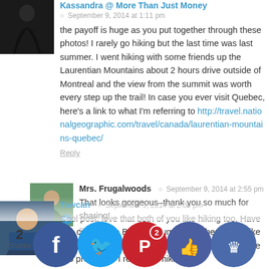[Figure (photo): Avatar photo of Kassandra, woman in black gown]
Kassandra @ More Than Just Money
September 9, 2014 at 1:11 pm
the payoff is huge as you put together through these photos! I rarely go hiking but the last time was last summer. I went hiking with some friends up the Laurentian Mountains about 2 hours drive outside of Montreal and the view from the summit was worth every step up the trail! In case you ever visit Quebec, here's a link to what I'm referring to http://travel.nationalgeographic.com/travel/canada/laurentian-mountains-quebec/
Reply
[Figure (photo): Avatar photo of Mrs. Frugalwoods]
Mrs. Frugalwoods
September 9, 2014 at 2:55 pm
That looks gorgeous–thank you so much for sharing!
Reply
[Figure (photo): Avatar photo of Tawcan]
Tawcan
September 9, 2014 at 2:00 pm
Cool post, love that both of you like hiking too. Have you come up to British Columbia or Alberta and hike around there? There are a lot of good hikes in these two provinces. I really like hiking a... but I like cycling b... case ... know ... scrambling is something in between of hiking and rock climb...
2 Shares
[Figure (infographic): Social share buttons: Facebook, Twitter, Pinterest (2), Like, Crown]